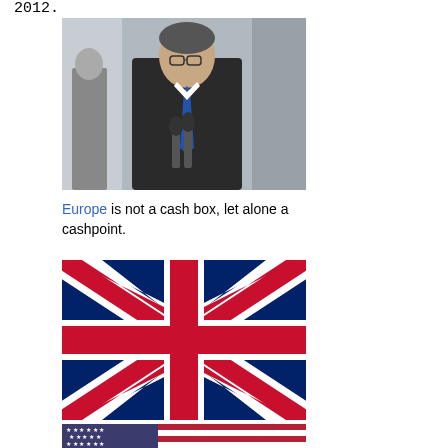2012.
[Figure (photo): Man in dark suit at microphones, likely a politician at a press conference, outdoors]
Europe is not a cash box, let alone a cashpoint.
[Figure (illustration): Union Jack (UK flag)]
Britain is more protected because of speculation the central bank may intervene directly to finance the debt.
[Figure (illustration): American flag (stars and stripes), partially visible at bottom]